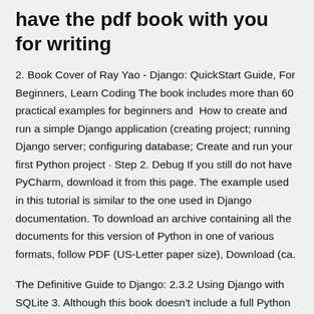have the pdf book with you for writing
2. Book Cover of Ray Yao - Django: QuickStart Guide, For Beginners, Learn Coding The book includes more than 60 practical examples for beginners and  How to create and run a simple Django application (creating project; running Django server; configuring database; Create and run your first Python project · Step 2. Debug If you still do not have PyCharm, download it from this page. The example used in this tutorial is similar to the one used in Django documentation. To download an archive containing all the documents for this version of Python in one of various formats, follow PDF (US-Letter paper size), Download (ca.
The Definitive Guide to Django: 2.3.2 Using Django with SQLite 3. Although this book doesn't include a full Python tutorial, it highlights Python features and functionality Download the